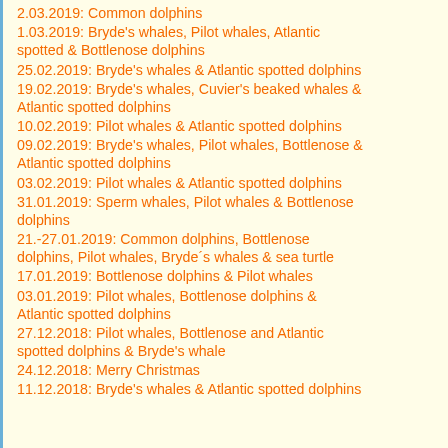2.03.2019: Common dolphins
1.03.2019: Bryde's whales, Pilot whales, Atlantic spotted & Bottlenose dolphins
25.02.2019: Bryde's whales & Atlantic spotted dolphins
19.02.2019: Bryde's whales, Cuvier's beaked whales & Atlantic spotted dolphins
10.02.2019: Pilot whales & Atlantic spotted dolphins
09.02.2019: Bryde's whales, Pilot whales, Bottlenose & Atlantic spotted dolphins
03.02.2019: Pilot whales & Atlantic spotted dolphins
31.01.2019: Sperm whales, Pilot whales & Bottlenose dolphins
21.-27.01.2019: Common dolphins, Bottlenose dolphins, Pilot whales, Bryde´s whales & sea turtle
17.01.2019: Bottlenose dolphins & Pilot whales
03.01.2019: Pilot whales, Bottlenose dolphins & Atlantic spotted dolphins
27.12.2018: Pilot whales, Bottlenose and Atlantic spotted dolphins & Bryde's whale
24.12.2018: Merry Christmas
11.12.2018: Bryde's whales & Atlantic spotted dolphins